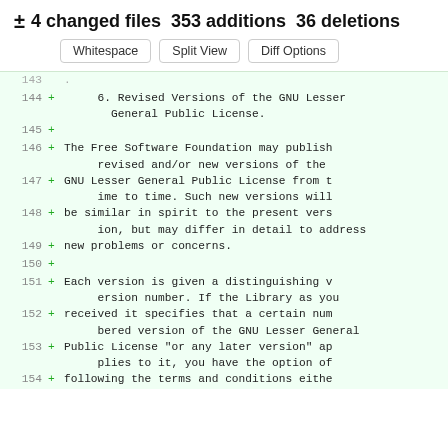± 4 changed files 353 additions 36 deletions
Whitespace  Split View  Diff Options
143  .
144  +      6. Revised Versions of the GNU Lesser General Public License.
145  +
146  + The Free Software Foundation may publish revised and/or new versions of the
147  + GNU Lesser General Public License from time to time. Such new versions will
148  + be similar in spirit to the present version, but may differ in detail to address
149  + new problems or concerns.
150  +
151  + Each version is given a distinguishing version number. If the Library as you
152  + received it specifies that a certain numbered version of the GNU Lesser General
153  + Public License "or any later version" applies to it, you have the option of
154  + following the terms and conditions eithe